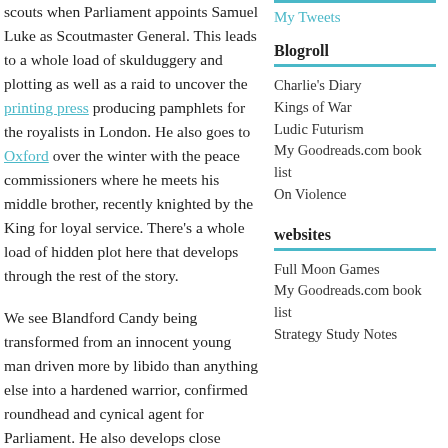scouts when Parliament appoints Samuel Luke as Scoutmaster General. This leads to a whole load of skulduggery and plotting as well as a raid to uncover the printing press producing pamphlets for the royalists in London. He also goes to Oxford over the winter with the peace commissioners where he meets his middle brother, recently knighted by the King for loyal service. There’s a whole load of hidden plot here that develops through the rest of the story.
We see Blandford Candy being transformed from an innocent young man driven more by libido than anything else into a hardened warrior, confirmed roundhead and cynical agent for Parliament. He also develops close friendships with the other scouts, and
My Tweets
Blogroll
Charlie's Diary
Kings of War
Ludic Futurism
My Goodreads.com book list
On Violence
websites
Full Moon Games
My Goodreads.com book list
Strategy Study Notes